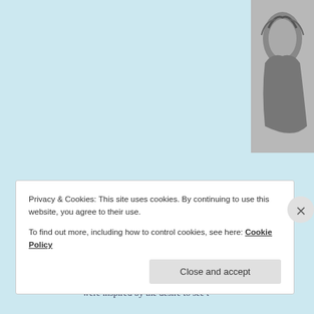[Figure (photo): Black and white photo of a person with curly hair, cropped at top-right corner of page]
John 14:9– “Jesus saith unto him, Have I been so long time with you, and yet hast thou not known me, Philip? He that hath seen me hath seen the Father; and how sayest thou then, Show us the Father?’”
Hearing songs like, “My Father’s Eyes” were inspired by the desire to see the Father.
I’m sure you have heard the phrase, when one sees a sister or a brother in need...
Privacy & Cookies: This site uses cookies. By continuing to use this website, you agree to their use.
To find out more, including how to control cookies, see here: Cookie Policy
Close and accept